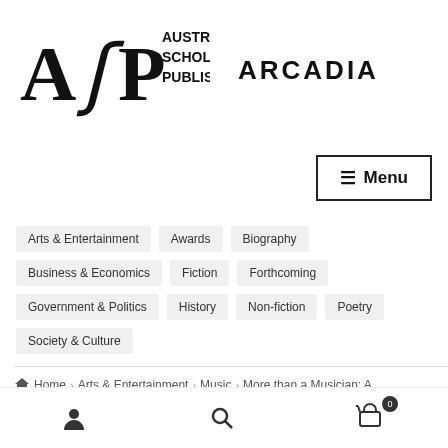[Figure (logo): Australian Scholarly Publishing (ASP) logo with stylized ASP letters and text reading AUSTRALIAN SCHOLARLY PUBLISHING, alongside ARCADIA text]
[Figure (other): Menu button with hamburger icon]
Arts & Entertainment
Awards
Biography
Business & Economics
Fiction
Forthcoming
Government & Politics
History
Non-fiction
Poetry
Society & Culture
Home > Arts & Entertainment > Music > More than a Musician: A
User icon | Search icon | Cart (0)